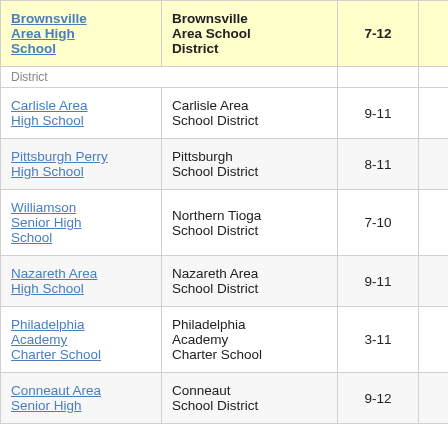| School | District | Grades | Score |  |
| --- | --- | --- | --- | --- |
| Brownsville Area High School | Brownsville Area School District | 7-12 | -7.6 | 3 |
| [District] |  |  |  |  |
| Carlisle Area High School | Carlisle Area School District | 9-11 | -5.7 |  |
| Pittsburgh Perry High School | Pittsburgh School District | 8-11 | -11.9 |  |
| Williamson Senior High School | Northern Tioga School District | 7-10 | -10.4 |  |
| Nazareth Area High School | Nazareth Area School District | 9-11 | -5.0 |  |
| Philadelphia Academy Charter School | Philadelphia Academy Charter School | 3-11 | -8.9 |  |
| Conneaut Area Senior High | Conneaut School District | 9-12 | -7.9 |  |